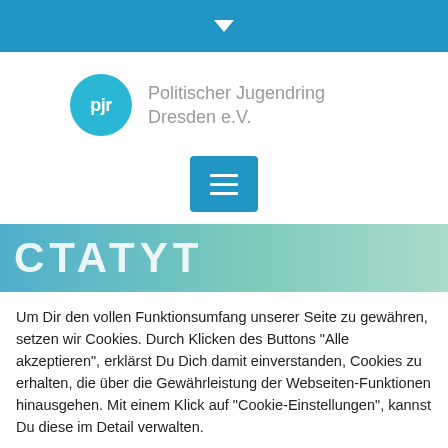Top navigation bar with dropdown arrow
[Figure (logo): Politischer Jugendring Dresden e.V. logo — blue circle with 'pjr' text, organization name in gray]
[Figure (illustration): Blue hamburger menu button]
[Figure (illustration): Gradient banner with partial title text 'CTATYT' (STATYT) in white large uppercase letters]
Um Dir den vollen Funktionsumfang unserer Seite zu gewähren, setzen wir Cookies. Durch Klicken des Buttons "Alle akzeptieren", erklärst Du Dich damit einverstanden, Cookies zu erhalten, die über die Gewährleistung der Webseiten-Funktionen hinausgehen. Mit einem Klick auf "Cookie-Einstellungen", kannst Du diese im Detail verwalten.
Cookie-Einstellungen | Alle akzeptieren